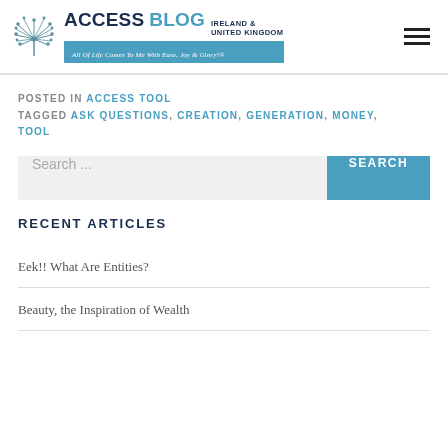ACCESS BLOG IRELAND & UNITED KINGDOM — All Of Life Comes To Me With Ease, Joy & Glory!®
POSTED IN ACCESS TOOL
TAGGED ASK QUESTIONS, CREATION, GENERATION, MONEY, TOOL
Search ...
RECENT ARTICLES
Eek!! What Are Entities?
Beauty, the Inspiration of Wealth